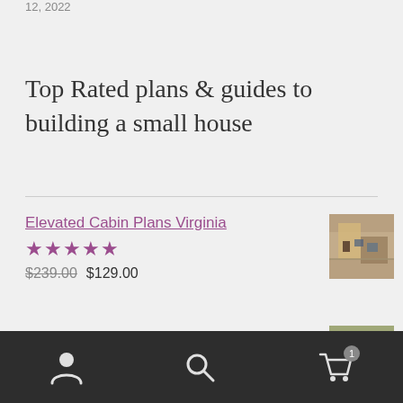12, 2022
Top Rated plans & guides to building a small house
Elevated Cabin Plans Virginia
★★★★★
$239.00 $129.00
Vacation Cabin Plans Candy
★★★★☆
User icon | Search icon | Cart (1)